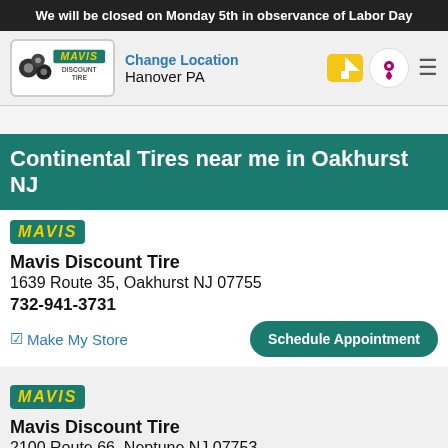We will be closed on Monday 5th in observance of Labor Day
[Figure (screenshot): Mavis Discount Tire logo with tires graphic and teal/yellow branding]
Change Location
Hanover PA
Continental Tires near me in Oakhurst NJ
MAVIS
Mavis Discount Tire
1639 Route 35, Oakhurst NJ 07755
732-941-3731
Make My Store
Schedule Appointment
MAVIS
Mavis Discount Tire
2100 Route 66, Neptune NJ 07753
Call Store
Schedule Appointment